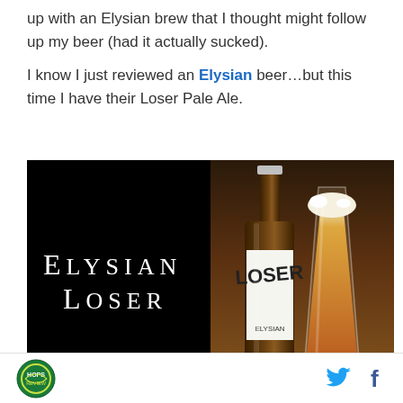up with an Elysian brew that I thought might follow up my beer (had it actually sucked).
I know I just reviewed an Elysian beer…but this time I have their Loser Pale Ale.
[Figure (photo): Photo of Elysian Loser Pale Ale bottle and beer in a glass, with text 'ELYSIAN LOSER' on black background on the left side]
Social media icons: Twitter and Facebook